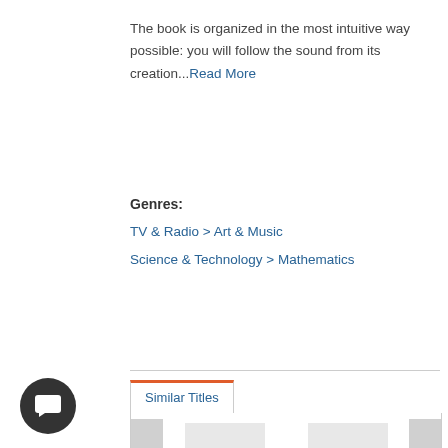The book is organized in the most intuitive way possible: you will follow the sound from its creation...Read More
Genres:
TV & Radio > Art & Music
Science & Technology > Mathematics
Similar Titles
[Figure (other): Carousel panel showing similar book titles with star ratings. Two book covers visible: 'Fahrenheit 451 Edition #10' with 4-star rating, and 'Why We Sleep: Unlocking the P...' with 4.5-star rating. Navigation arrows on left and right.]